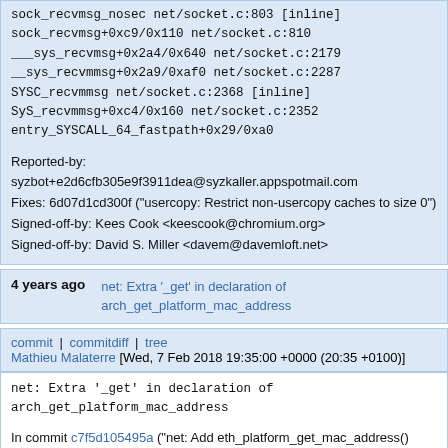sock_recvmsg_nosec net/socket.c:803 [inline]
sock_recvmsg+0xc9/0x110 net/socket.c:810
___sys_recvmsg+0x2a4/0x640 net/socket.c:2179
__sys_recvmmsg+0x2a9/0xaf0 net/socket.c:2287
SYSC_recvmmsg net/socket.c:2368 [inline]
SyS_recvmmsg+0xc4/0x160 net/socket.c:2352
entry_SYSCALL_64_fastpath+0x29/0xa0
Reported-by:
syzbot+e2d6cfb305e9f3911dea@syzkaller.appspotmail.com
Fixes: 6d07d1cd300f ("usercopy: Restrict non-usercopy caches to size 0")
Signed-off-by: Kees Cook <keescook@chromium.org>
Signed-off-by: David S. Miller <davem@davemloft.net>
4 years ago    net: Extra '_get' in declaration of arch_get_platform_mac_address
commit | commitdiff | tree
Mathieu Malaterre [Wed, 7 Feb 2018 19:35:00 +0000 (20:35 +0100)]
net: Extra '_get' in declaration of arch_get_platform_mac_address
In commit c7f5d105495a ("net: Add eth_platform_get_mac_address() helpe